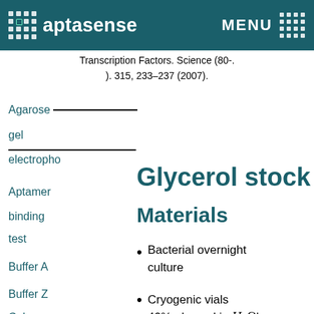Maerkl, S. J. & Quake, S. R. A ... Transcription Factors. Science (80-. ). 315, 233–237 (2007).
aptasense  MENU
Transcription Factors. Science (80-. ). 315, 233–237 (2007).
Glycerol stock
Materials
Bacterial overnight culture
Cryogenic vials
40% glycerol in H₂O